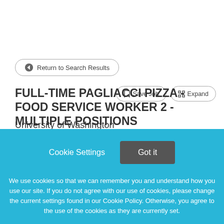← Return to Search Results
FULL-TIME PAGLIACCI PIZZA - FOOD SERVICE WORKER 2 - MULTIPLE POSITIONS
University of Washington
Cookie Settings
Got it
We use cookies so that we can remember you and understand how you use our site. If you do not agree with our use of cookies, please change the current settings found in our Cookie Policy. Otherwise, you agree to the use of the cookies as they are currently set.